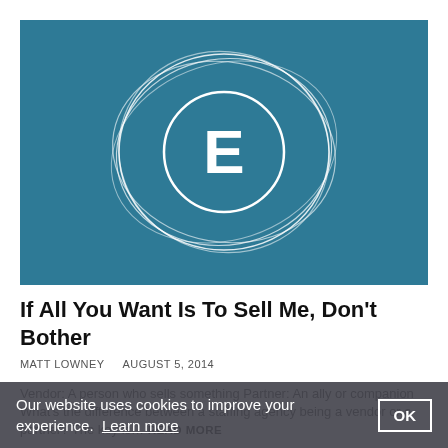[Figure (logo): Teal/blue background with a white letter E inside overlapping circular rings logo]
If All You Want Is To Sell Me, Don't Bother
MATT LOWNEY   AUGUST 5, 2014
Vendor: A person who sells something Partner: An ally or companion What's the difference between a staffing agency being a vendor or a partner? The key is… READ MORE
Our website uses cookies to improve your experience. Learn more